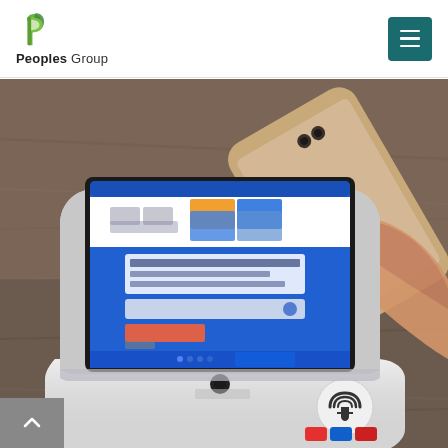Peoples Group
[Figure (photo): A payment terminal device (A920) on a wooden table with an iPhone being tapped against it for NFC/contactless payment. The terminal screen shows a payment interface with blue UI and 'Please Tap Your Bank Card' text. The iPhone is gold-colored and held by a hand from the right side.]